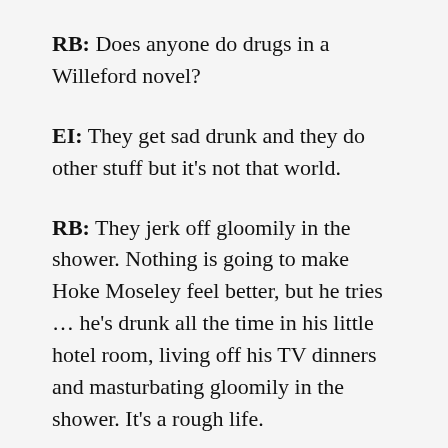RB: Does anyone do drugs in a Willeford novel?
EI: They get sad drunk and they do other stuff but it's not that world.
RB: They jerk off gloomily in the shower. Nothing is going to make Hoke Moseley feel better, but he tries … he's drunk all the time in his little hotel room, living off his TV dinners and masturbating gloomily in the shower. It's a rough life.
EI: Let's go back and talk about the canon. We may disagree about certain books.